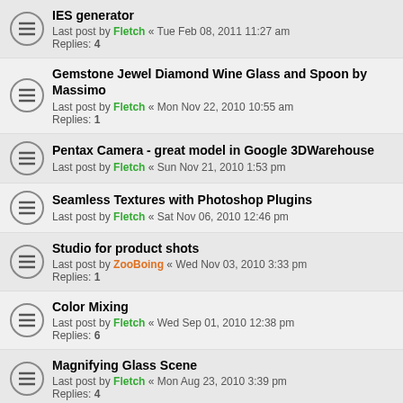IES generator
Last post by Fletch « Tue Feb 08, 2011 11:27 am
Replies: 4
Gemstone Jewel Diamond Wine Glass and Spoon by Massimo
Last post by Fletch « Mon Nov 22, 2010 10:55 am
Replies: 1
Pentax Camera - great model in Google 3DWarehouse
Last post by Fletch « Sun Nov 21, 2010 1:53 pm
Seamless Textures with Photoshop Plugins
Last post by Fletch « Sat Nov 06, 2010 12:46 pm
Studio for product shots
Last post by ZooBoing « Wed Nov 03, 2010 3:33 pm
Replies: 1
Color Mixing
Last post by Fletch « Wed Sep 01, 2010 12:38 pm
Replies: 6
Magnifying Glass Scene
Last post by Fletch « Mon Aug 23, 2010 3:39 pm
Replies: 4
NEW TOPIC  |  Sort  36 topics  1  2  >